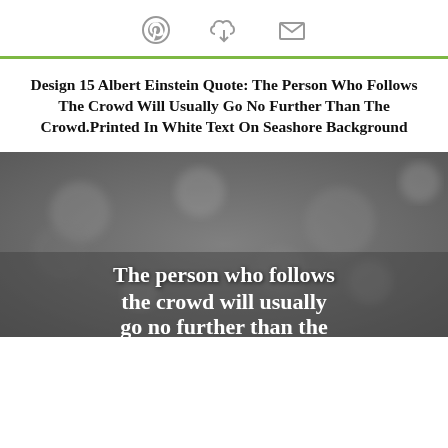[Pinterest icon] [Download icon] [Email icon]
Design 15 Albert Einstein Quote: The Person Who Follows The Crowd Will Usually Go No Further Than The Crowd.Printed In White Text On Seashore Background
[Figure (photo): Seashore background image with white bold text overlay reading: The person who follows the crowd will usually go no further than the]